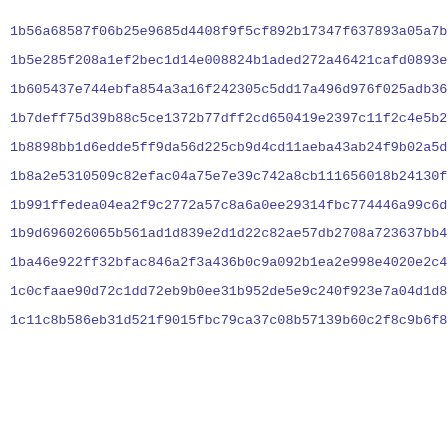1b56a68587f06b25e9685d4408f9f5cf892b17347f637893a05a7b003c0b5
1b5e285f208a1ef2bec1d14e008824b1aded272a46421cafd0893ed2fe462
1b605437e744ebfa854a3a16f242305c5dd17a496d976f025adb36463ca09
1b7deff75d39b88c5ce1372b77dff2cd650419e2397c11f2c4e5b2a21e140
1b8898bb1d6edde5ff9da56d225cb9d4cd11aeba43ab24f9b02a5d3634deb
1b8a2e5310509c82efac04a75e7e39c742a8cb111656018b24130f8860273
1b991ffedea04ea2f9c2772a57c8a6a0ee29314fbc774446a99c6dbbdf377
1b9d696026065b561ad1d839e2d1d22c82ae57db2708a723637bb4afaf6cf
1ba46e922ff32bfac846a2f3a436b0c9a092b1ea2e998e4020e2c42be42d8
1c0cfaae90d72c1dd72eb9b0ee31b952de5e9c240f923e7a04d1d852adf88
1c11c8b586eb31d521f9015fbc79ca37c08b57139b60c2f8c9b6f8aa1d3f3